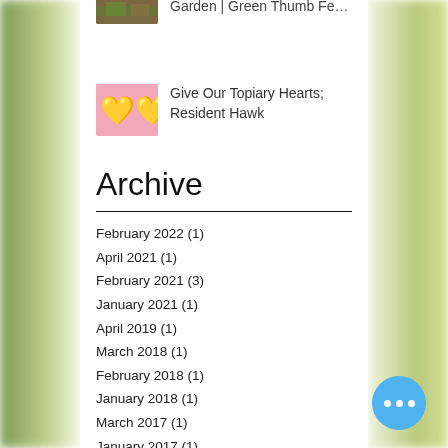[Figure (photo): Thumbnail of garden/green thumb festival image (partially clipped at top)]
Garden | Green Thumb Festival
[Figure (photo): Pink thumbnail with golden heart topiary decorations]
Give Our Topiary Hearts; Resident Hawk
Archive
February 2022 (1)
April 2021 (1)
February 2021 (3)
January 2021 (1)
April 2019 (1)
March 2018 (1)
February 2018 (1)
January 2018 (1)
March 2017 (1)
January 2017 (1)